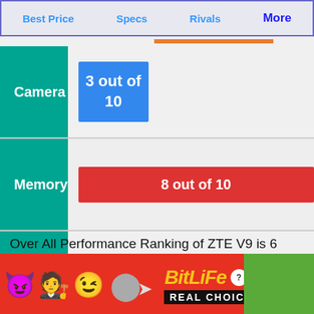Best Price | Specs | Rivals | More
| Category | Score |
| --- | --- |
| Camera | 3 out of 10 |
| Memory | 8 out of 10 |
| Battery | 6 out of 10 |
Over All Performance Ranking of ZTE V9 is 6
[Figure (screenshot): BitLife Real Choices advertisement banner with emojis (devil, angel person, winking emoji), sperm graphic, BitLife logo in yellow italic text, and REAL CHOICES subtitle on black background. Red background with green block on right.]